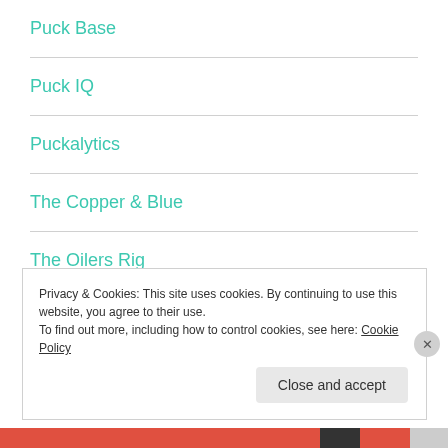Puck Base
Puck IQ
Puckalytics
The Copper & Blue
The Oilers Rig
War On Ice
Privacy & Cookies: This site uses cookies. By continuing to use this website, you agree to their use.
To find out more, including how to control cookies, see here: Cookie Policy
Close and accept